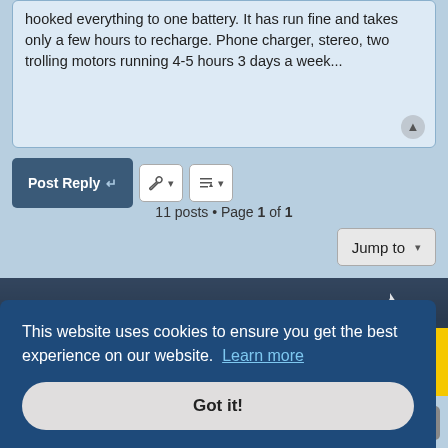hooked everything to one battery. It has run fine and takes only a few hours to recharge. Phone charger, stereo, two trolling motors running 4-5 hours 3 days a week...
Post Reply | 11 posts • Page 1 of 1
Jump to
[Figure (photo): PW-MARINE.COM banner advertisement with Tricked Tins kayak silhouette on left, large italic white text PW-MARINE.COM in center, sailboat silhouette on right, over dark water background]
Blog ‹ Forum  All times are UTC-04:00
This website uses cookies to ensure you get the best experience on our website. Learn more
Got it!